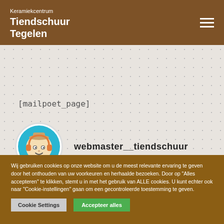Keramiekcentrum Tiendschuur Tegelen
[mailpoet_page]
[Figure (illustration): Avatar icon of a cartoon person with headphones inside a blue circle, next to the username 'webmaster__tiendschuur']
webmaster__tiendschuur
Wij gebruiken cookies op onze website om u de meest relevante ervaring te geven door het onthouden van uw voorkeuren en herhaalde bezoeken. Door op "Alles accepteren" te klikken, stemt u in met het gebruik van ALLE cookies. U kunt echter ook naar "Cookie-instellingen" gaan om een gecontroleerde toestemming te geven.
Cookie Settings
Accepteer alles